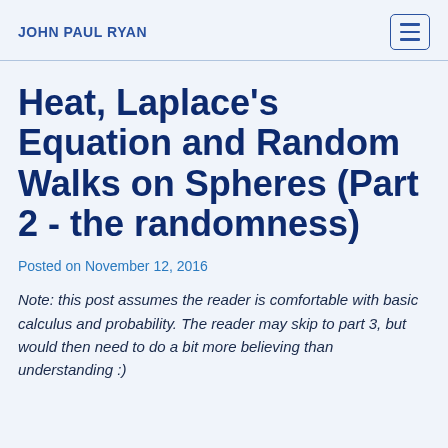JOHN PAUL RYAN
Heat, Laplace's Equation and Random Walks on Spheres (Part 2 - the randomness)
Posted on November 12, 2016
Note: this post assumes the reader is comfortable with basic calculus and probability. The reader may skip to part 3, but would then need to do a bit more believing than understanding :)